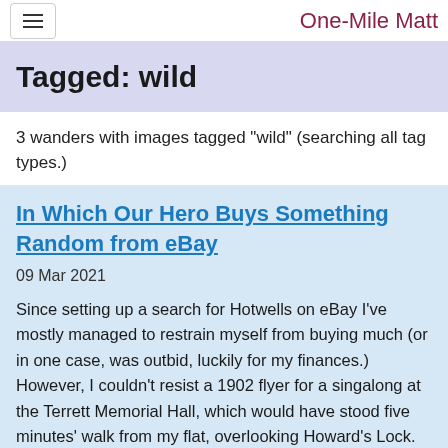One-Mile Matt
Tagged: wild
3 wanders with images tagged "wild" (searching all tag types.)
In Which Our Hero Buys Something Random from eBay
09 Mar 2021
Since setting up a search for Hotwells on eBay I've mostly managed to restrain myself from buying much (or in one case, was outbid, luckily for my finances.) However, I couldn't resist a 1902 flyer for a singalong at the Terrett Memorial Hall, which would have stood five minutes' walk from my flat, overlooking Howard's Lock.
I've found out a fair bit about this non-denominational seaman's mission, including tracking down both a Loxton